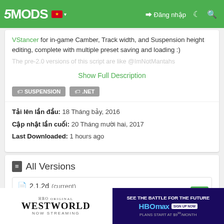5MODS — Đăng nhập
VStancer for in-game Camber, Track width, and Suspension height editing, complete with multiple preset saving and loading :)
The pre-2.0 versions of this script are like @ImNotMantahs
Show Full Description
SUSPENSION
.NET
Tải lên lần đầu: 18 Tháng bảy, 2016
Cập nhật lần cuối: 20 Tháng mười hai, 2017
Last Downloaded: 1 hours ago
All Versions
2.1.2d (current)
19,797 lần tải · 3 MB
20 Th...
[Figure (screenshot): Advertisement banner: Westworld HBO Original Now Streaming (left), and HBO Max Sign Up Now Plans Start At $9.99/Month (right)]